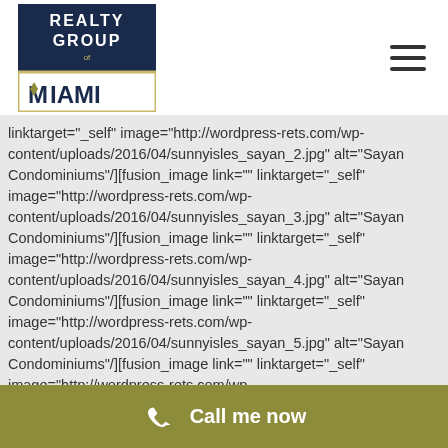[Figure (logo): Realty Group of Miami logo — dark navy rectangle with white text 'REALTY GROUP' above and gold/olive bordered rectangle with 'MIAMI' text below]
linktarget="_self" image="http://wordpress-rets.com/wp-content/uploads/2016/04/sunnyisles_sayan_2.jpg" alt="Sayan Condominiums"/][fusion_image link="" linktarget="_self" image="http://wordpress-rets.com/wp-content/uploads/2016/04/sunnyisles_sayan_3.jpg" alt="Sayan Condominiums"/][fusion_image link="" linktarget="_self" image="http://wordpress-rets.com/wp-content/uploads/2016/04/sunnyisles_sayan_4.jpg" alt="Sayan Condominiums"/][fusion_image link="" linktarget="_self" image="http://wordpress-rets.com/wp-content/uploads/2016/04/sunnyisles_sayan_5.jpg" alt="Sayan Condominiums"/][fusion_image link="" linktarget="_self" image="http://wordpress-rets.com/wp-
Call me now